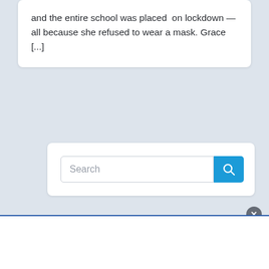and the entire school was placed on lockdown — all because she refused to wear a mask. Grace [...]
[Figure (screenshot): Search bar with text input field placeholder 'Search' and a blue search button with magnifying glass icon]
[Figure (screenshot): Advertisement bar at the bottom with a close (x) button in the top-right corner]